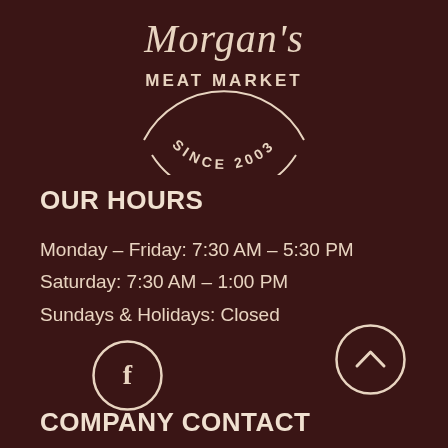[Figure (logo): Morgan's Meat Market logo - cursive text 'Morgan's' above 'MEAT MARKET' and 'SINCE 2003' in a circular badge design, cream/white on dark brown background]
OUR HOURS
Monday – Friday: 7:30 AM – 5:30 PM
Saturday: 7:30 AM – 1:00 PM
Sundays & Holidays: Closed
[Figure (illustration): Facebook icon in a circle]
[Figure (illustration): Upward chevron/arrow in a circle]
COMPANY CONTACT